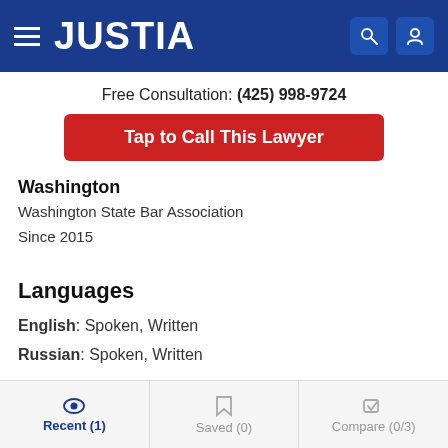JUSTIA
Free Consultation: (425) 998-9724
Tap to Call This Lawyer
Washington
Washington State Bar Association
Since 2015
Languages
English: Spoken, Written
Russian: Spoken, Written
Recent (1)  Saved (0)  Compare (0/3)